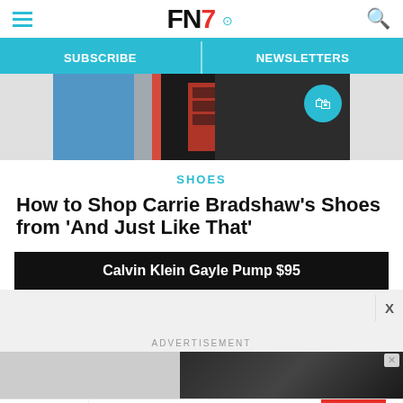FN7 — Footwear News header with hamburger menu and search icon
SUBSCRIBE | NEWSLETTERS
[Figure (photo): Partial view of a street fashion photo showing colorful outfit with dark top]
SHOES
How to Shop Carrie Bradshaw's Shoes from 'And Just Like That'
Calvin Klein Gayle Pump $95
ADVERTISEMENT
[Figure (photo): Advertisement: Fairchild Fashion Museum — A Matter of Style: A Fairchild Archive Gallery Exhibition — Learn More]